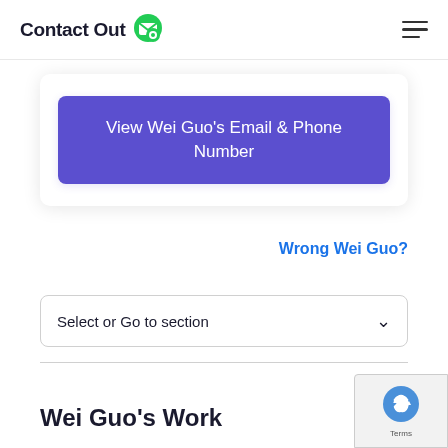ContactOut
View Wei Guo's Email & Phone Number
Wrong Wei Guo?
Select or Go to section
Wei Guo's Work